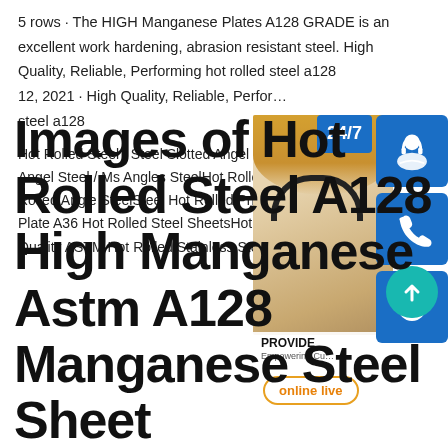5 rows · The HIGH Manganese Plates A128 GRADE is an excellent work hardening, abrasion resistant steel. High Quality, Reliable, Performing hot rolled steel a128 12, 2021 · High Quality, Reliable, Performing hot rolled steel a128
Hot Rolled Steel / Steel Slotted Angel Iron Angel Steel / Ms Angles SteelHot Rolled Angle SteelSteel Hot Rolled Prime Plate A36 Hot Rolled Steel SheetsHot Rolled Quality ASTM Hot Rolled Stainless Steel
[Figure (infographic): Customer service widget with photo of woman wearing headset, blue icon buttons for 24/7 support (headset icon, phone icon, Skype icon), PROVIDE Empowering Customers text, and orange 'online live' button]
Images of Hot Rolled Steel A128 High Manganese Astm A128 Manganese Steel Sheet